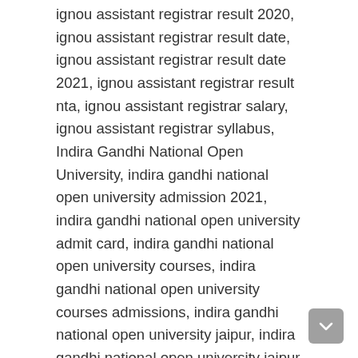ignou assistant registrar result 2020, ignou assistant registrar result date, ignou assistant registrar result date 2021, ignou assistant registrar result nta, ignou assistant registrar salary, ignou assistant registrar syllabus, Indira Gandhi National Open University, indira gandhi national open university admission 2021, indira gandhi national open university admit card, indira gandhi national open university courses, indira gandhi national open university courses admissions, indira gandhi national open university jaipur, indira gandhi national open university jaipur rajasthan, indira gandhi national open university regional center jodhpur, indira gandhi national open university result,